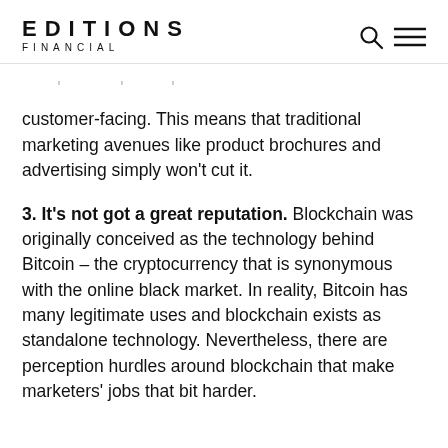EDITIONS FINANCIAL
customer-facing. This means that traditional marketing avenues like product brochures and advertising simply won't cut it.
3. It's not got a great reputation. Blockchain was originally conceived as the technology behind Bitcoin – the cryptocurrency that is synonymous with the online black market. In reality, Bitcoin has many legitimate uses and blockchain exists as standalone technology. Nevertheless, there are perception hurdles around blockchain that make marketers' jobs that bit harder.